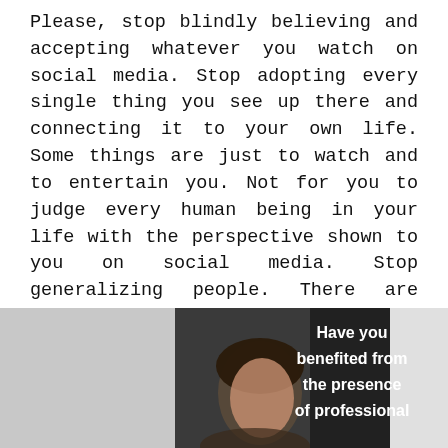Please, stop blindly believing and accepting whatever you watch on social media. Stop adopting every single thing you see up there and connecting it to your own life. Some things are just to watch and to entertain you. Not for you to judge every human being in your life with the perspective shown to you on social media. Stop generalizing people. There are good people and bad people both. Just because you watched a meme on social media, doesn't mean you start looking at everybody around you in that way and start believing it blindly.
[Figure (photo): Photo of a woman with dark hair smiling, shown in a dark-toned image with a dark overlay on the right side. Overlaid bold white text reads: 'Have you benefited from the presence of professional']